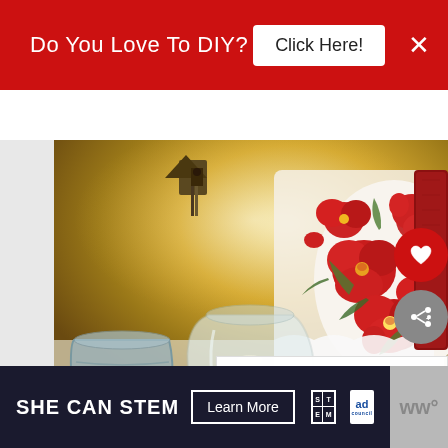[Figure (screenshot): Red banner advertisement: 'Do You Love To DIY?' with 'Click Here!' button and close X]
[Figure (photo): Interior home decor photo showing a decorative pillow with red floral (poppy) embroidery on white fabric, red velvet pillow, glass vase, galvanized metal bucket, birdhouse, warm ambient lighting]
[Figure (screenshot): UI overlay with heart (favorite) button in red circle and share button in gray circle]
WHAT'S NEXT → Christmas Home Decor...
[Figure (screenshot): Bottom advertisement: SHE CAN STEM with Learn More button, STEM logo, Ad Council logo]
ww°